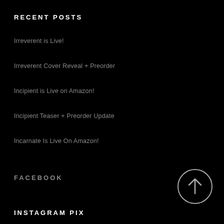RECENT POSTS
Irreverent is Live!
Irreverent Cover Reveal + Preorder
Incipient is Live on Amazon!
Incipient Teaser + Preorder Update
Incarnate Is Live On Amazon!
FACEBOOK
[Figure (other): Circle button with upward arrow icon]
INSTAGRAM PIX